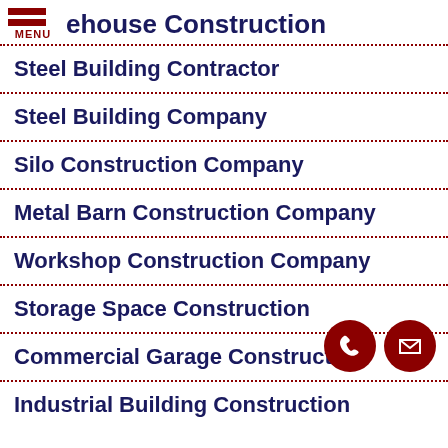ehouse Construction
Steel Building Contractor
Steel Building Company
Silo Construction Company
Metal Barn Construction Company
Workshop Construction Company
Storage Space Construction
Commercial Garage Construction
Industrial Building Construction